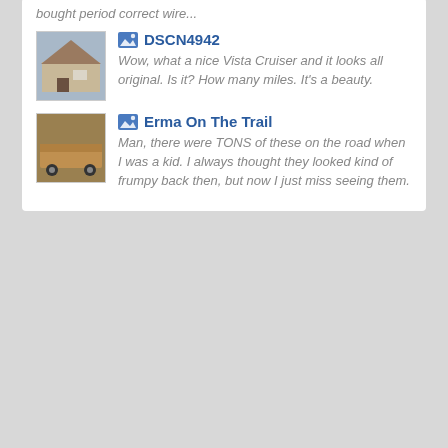bought period correct wire...
[Figure (photo): Thumbnail of a house/building photo labeled DSCN4942]
DSCN4942
Wow, what a nice Vista Cruiser and it looks all original. Is it? How many miles. It's a beauty.
[Figure (photo): Thumbnail of wagons photo labeled Erma On The Trail]
Erma On The Trail
Man, there were TONS of these on the road when I was a kid. I always thought they looked kind of frumpy back then, but now I just miss seeing them.
Recent Albums
[Figure (photo): Thumbnail for album Wagons from my recent and distant past...]
Wagons from my recent and distant past...
Media Items: 1
[Figure (photo): Thumbnail for album QFT]
QFT
Media Items: 1
[Figure (photo): Thumbnail for album salty 64 fiesta]
salty 64 fiesta
Media Items: 2
[Figure (photo): Thumbnail for album 1986 Mercury Grand]
1986 Mercury Grand